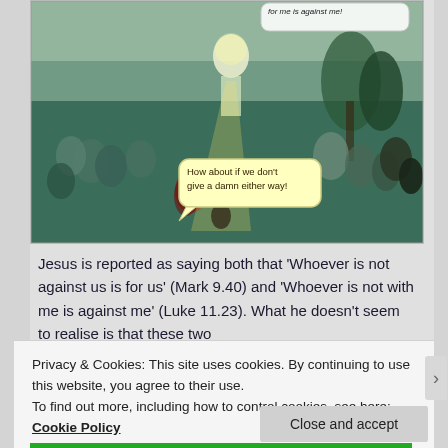[Figure (illustration): Comic-style illustration overlaying a classical religious painting of Jesus and a crowd. A speech bubble at top right reads 'for me is against me!' and a yellow speech bubble at bottom left reads 'How about if we don't give a damn either way!']
Jesus is reported as saying both that 'Whoever is not against us is for us' (Mark 9.40) and 'Whoever is not with me is against me' (Luke 11.23). What he doesn't seem to realise is that these two
Privacy & Cookies: This site uses cookies. By continuing to use this website, you agree to their use.
To find out more, including how to control cookies, see here: Cookie Policy